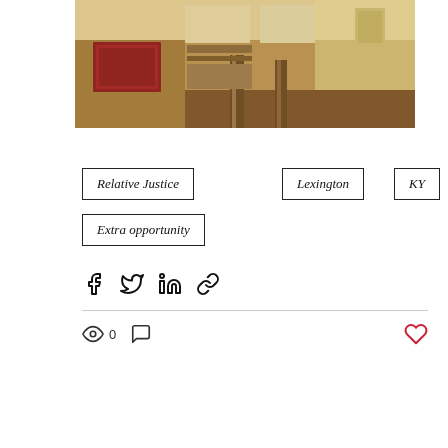[Figure (photo): Blurry photo of a courtroom interior with dark wood paneling, a red-framed plaque or seal on the left wall, columns, and beige/cream upper walls]
Relative Justice
Lexington
KY
Extra opportunity
Share via Facebook, Twitter, LinkedIn, Link icons
0 views, 0 comments, heart/like button